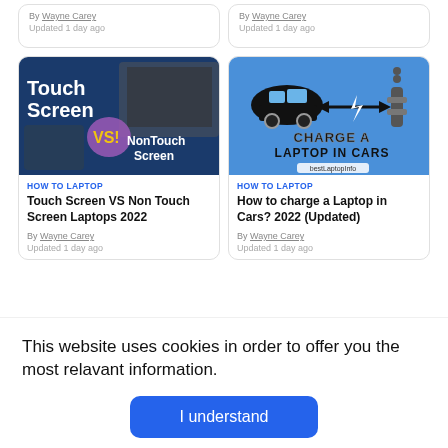By Wayne Carey
Updated 1 day ago
By Wayne Carey
Updated 1 day ago
[Figure (screenshot): Touch Screen VS NonTouch Screen thumbnail with dark blue background]
HOW TO LAPTOP
Touch Screen VS Non Touch Screen Laptops 2022
By Wayne Carey
Updated 1 day ago
[Figure (infographic): Charge a Laptop in Cars infographic with blue background showing car and charging cable]
HOW TO LAPTOP
How to charge a Laptop in Cars? 2022 (Updated)
By Wayne Carey
Updated 1 day ago
This website uses cookies in order to offer you the most relavant information.
I understand